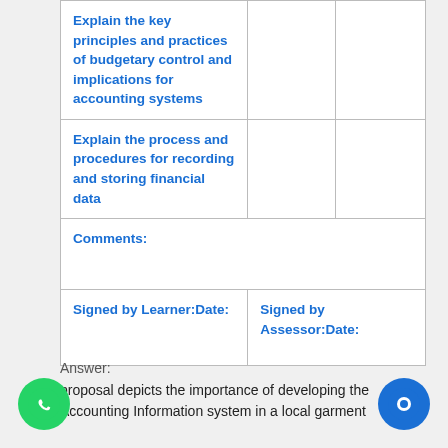|  |  |  |
| --- | --- | --- |
| Explain the key principles and practices of budgetary control and implications for accounting systems |  |  |
| Explain the process and procedures for recording and storing financial data |  |  |
| Comments: |  |  |
| Signed by Learner:Date: | Signed by Assessor:Date: |  |
Answer:
proposal depicts the importance of developing the Accounting Information system in a local garment